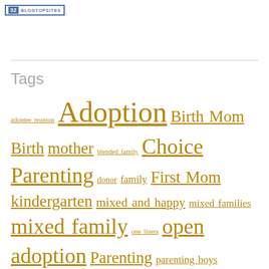32 BLOGTOPSITES
Tags
adoptee reunion Adoption Birth Mom Birth mother blended family Choice Parenting donor family First Mom kindergarten mixed and happy mixed families mixed family one liners open adoption Parenting parenting boys Poetry postaday2011 Race Race related raising boys Reflection single mother single parent dating single parenting transracial